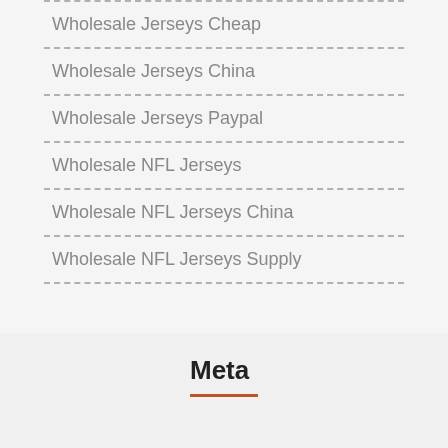Wholesale Jerseys Cheap
Wholesale Jerseys China
Wholesale Jerseys Paypal
Wholesale NFL Jerseys
Wholesale NFL Jerseys China
Wholesale NFL Jerseys Supply
Meta